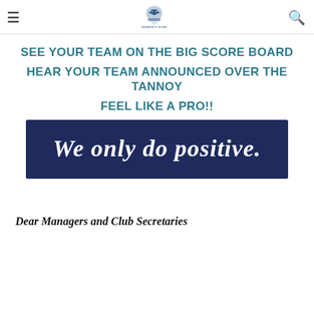≡  [Dalbeigh FC Logo]  🔍
SEE YOUR TEAM ON THE BIG SCORE BOARD
HEAR YOUR TEAM ANNOUNCED OVER THE TANNOY
FEEL LIKE A PRO!!
[Figure (illustration): Dark navy blue banner with white handwritten-style text reading 'We only do positive.']
Dear Managers and Club Secretaries